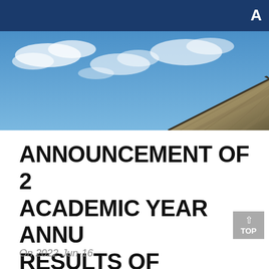A
[Figure (photo): Photograph of a traditional Chinese-style building rooftop with blue sky and white clouds in the background.]
ANNOUNCEMENT OF 2... ACADEMIC YEAR ANNU... RESULTS OF CHINESE... SCHOLARSHIP
On 2022-Jun-16